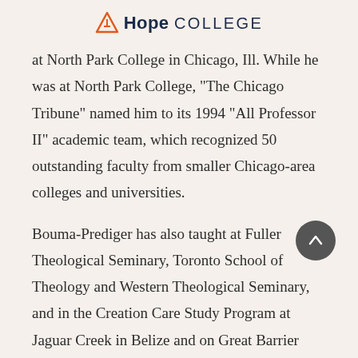Hope College
at North Park College in Chicago, Ill. While he was at North Park College, "The Chicago Tribune" named him to its 1994 "All Professor II" academic team, which recognized 50 outstanding faculty from smaller Chicago-area colleges and universities.
Bouma-Prediger has also taught at Fuller Theological Seminary, Toronto School of Theology and Western Theological Seminary, and in the Creation Care Study Program at Jaguar Creek in Belize and on Great Barrier Island in New Zealand. A 1979 Hope graduate, he holds an M.Phil. from the Institute for Christian Studies in Toronto, Ontario;